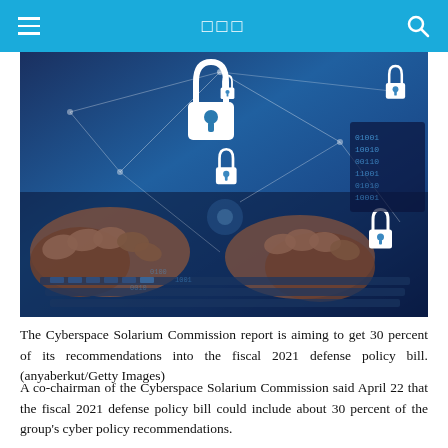≡  □□□  🔍
[Figure (photo): Cybersecurity themed photo showing hands typing on a keyboard with digital lock icons and network lines overlaid on a blue-toned background, with binary code visible on an adjacent screen.]
The Cyberspace Solarium Commission report is aiming to get 30 percent of its recommendations into the fiscal 2021 defense policy bill. (anyaberkut/Getty Images)
A co-chairman of the Cyberspace Solarium Commission said April 22 that the fiscal 2021 defense policy bill could include about 30 percent of the group's cyber policy recommendations.